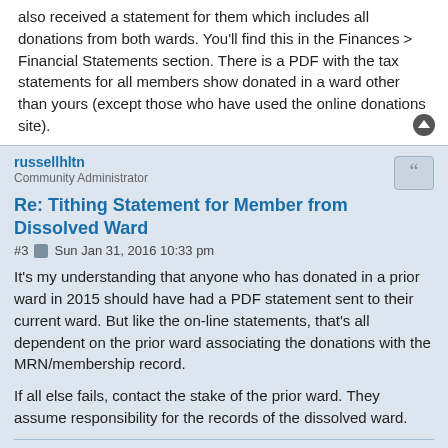also received a statement for them which includes all donations from both wards. You'll find this in the Finances > Financial Statements section. There is a PDF with the tax statements for all members show donated in a ward other than yours (except those who have used the online donations site).
russellhltn
Community Administrator
Re: Tithing Statement for Member from Dissolved Ward
#3  Sun Jan 31, 2016 10:33 pm
It's my understanding that anyone who has donated in a prior ward in 2015 should have had a PDF statement sent to their current ward. But like the on-line statements, that's all dependent on the prior ward associating the donations with the MRN/membership record.

If all else fails, contact the stake of the prior ward. They assume responsibility for the records of the dissolved ward.
Have you searched the Help Center? Try doing a Google search and adding "site:churchofjesuschrist.org/help" to the search criteria.

So we can better help you, please edit your Profile to include your general location.